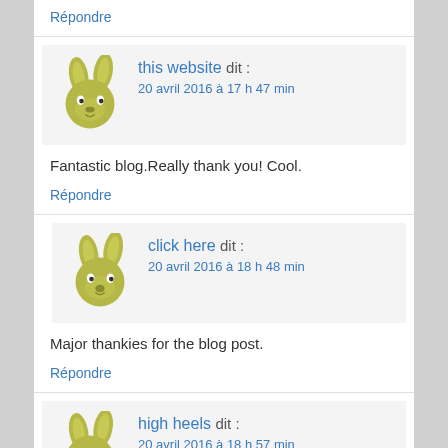Répondre
this website dit :
20 avril 2016 à 17 h 47 min
Fantastic blog.Really thank you! Cool.
Répondre
click here dit :
20 avril 2016 à 18 h 48 min
Major thankies for the blog post.
Répondre
high heels dit :
20 avril 2016 à 18 h 57 min